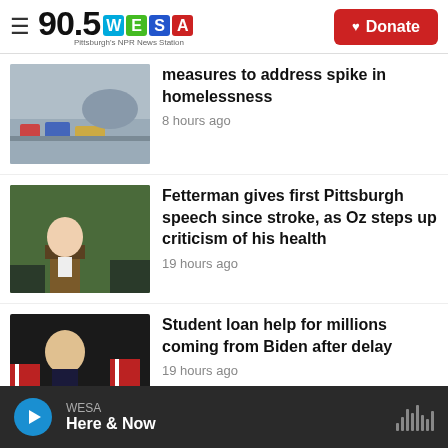90.5 WESA Pittsburgh's NPR News Station | Donate
[Figure (photo): Thumbnail of homeless encampment with belongings on ground]
measures to address spike in homelessness
8 hours ago
[Figure (photo): Thumbnail of Fetterman speaking at podium outdoors]
Fetterman gives first Pittsburgh speech since stroke, as Oz steps up criticism of his health
19 hours ago
[Figure (photo): Thumbnail of Biden with American flags in background]
Student loan help for millions coming from Biden after delay
19 hours ago
WESA | Here & Now